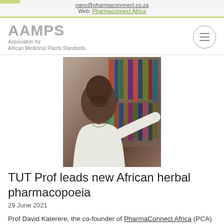nano@pharmaconnnect.co.za
Web: Pharmaconnect Africa
AAMPS
Association for African Medicinal Plants Standards
[Figure (photo): Photo of Prof David Katerere, a man in a white coat standing in front of a bookshelf]
TUT Prof leads new African herbal pharmacopoeia
29 June 2021
Prof David Katerere, the co-founder of PharmaConnect Africa (PCA) recently signed a memorandum of understanding (MoU) with the Association for African Medicinal Plants Standards (AAMPS), which aims to promote worldwide recognition for Africa's most important medicinal and aromatic plants (MAPs)